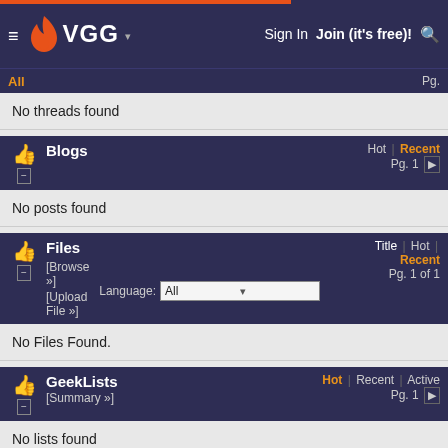VGG — Sign In | Join (it's free)!
All | Pg.
No threads found
Blogs — Hot | Recent — Pg. 1
No posts found
Files — Title | Hot | Recent — [Browse »] [Upload File »] Language: All — Pg. 1 of 1
No Files Found.
GeekLists — Hot | Recent | Active — [Summary »] — Pg. 1
No lists found
Statistics
| Label | Value | Label | Value |
| --- | --- | --- | --- |
| Video Game Rank: | N/A | Personal Comments: | 1 |
| Windows Rank: | N/A | Users Owning: | 18 |